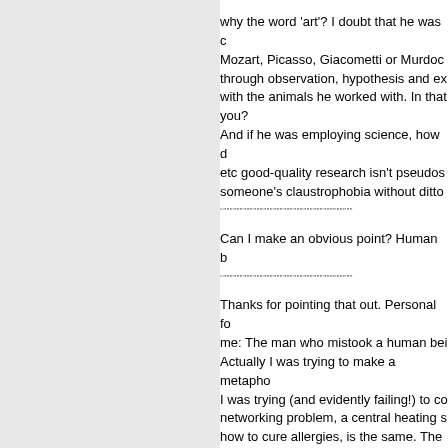why the word 'art'? I doubt that he was comparing to Mozart, Picasso, Giacometti or Murdoch. He was working through observation, hypothesis and experiment, working with the animals he worked with. In that sense, are you?
And if he was employing science, how does that etc good-quality research isn't pseudoscience... someone's claustrophobia without ditto
Can I make an obvious point? Human b
Thanks for pointing that out. Personal fo me: The man who mistook a human bei Actually I was trying to make a metapho I was trying (and evidently failing!) to co networking problem, a central heating s how to cure allergies, is the same. The observation, hypothesising and testing a
Regarding the 'financial poverty' argume accompanied by suggestions of vested
Well in the case of the nutrition mob wh that that's bollocks. But in the case of M corresponded, and who seems to be ba think he could fund the sort of research evidence"?
There is a US-based NLP research inst grant to conduct research?